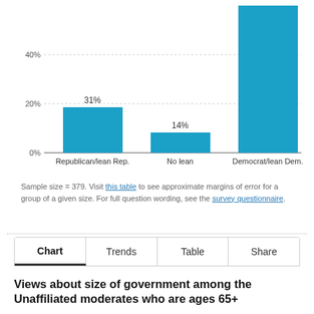[Figure (bar-chart): ]
Sample size = 379. Visit this table to see approximate margins of error for a group of a given size. For full question wording, see the survey questionnaire.
Chart | Trends | Table | Share
Views about size of government among the Unaffiliated moderates who are ages 65+